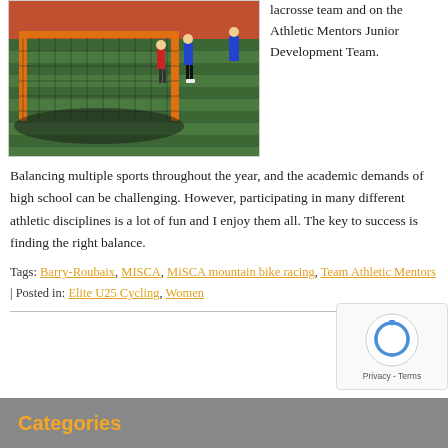[Figure (photo): Lacrosse game photo showing a goal net in foreground with players on a green artificial turf field with orange track in background]
lacrosse team and on the Athletic Mentors Junior Development Team. Balancing multiple sports throughout the year, and the academic demands of high school can be challenging. However, participating in many different athletic disciplines is a lot of fun and I enjoy them all. The key to success is finding the right balance.
Tags: Barry-Roubaix, MISCA, MiSCA mountain bike racing, Team Athletic Mentors | Posted in: Elite U25 Cycling, Women
Categories